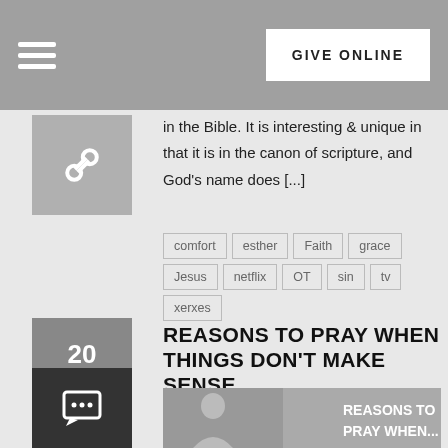GIVE ONLINE
in the Bible. It is interesting & unique in that it is in the canon of scripture, and God's name does [...]
comfort
esther
Faith
grace
Jesus
netflix
OT
sin
tv
xerxes
REASONS TO PRAY WHEN THINGS DON'T MAKE SENSE
[Figure (photo): Image thumbnail for 'Reasons to Pray When Things Don't Make Sense' with overlay text 'REASONS TO PRAY WHEN...']